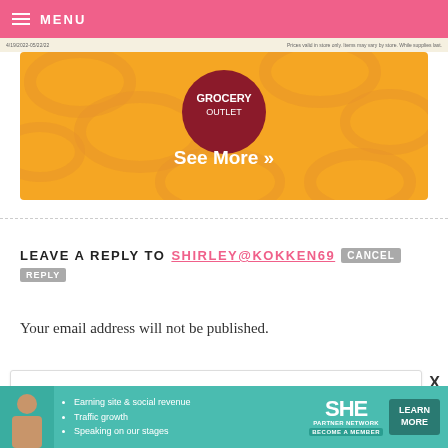MENU
[Figure (screenshot): Grocery Outlet banner ad with orange swirl background showing 'See More »' button and Grocery Outlet logo]
LEAVE A REPLY TO SHIRLEY@KOKKEN69 CANCEL REPLY
Your email address will not be published.
Comment
[Figure (infographic): SHE Partner Network advertisement with bullet points: Earning site & social revenue, Traffic growth, Speaking on our stages. BECOME A MEMBER. LEARN MORE button.]